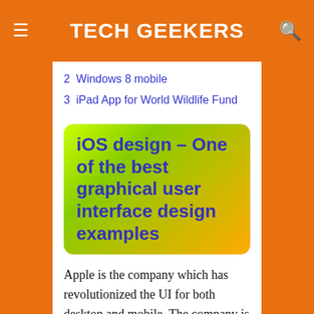TECH GEEKERS
2  Windows 8 mobile
3  iPad App for World Wildlife Fund
iOS design – One of the best graphical user interface design examples
Apple is the company which has revolutionized the UI for both desktop and mobile. The company is the pioneer of the use of GUI i.e. with the introduction of Lisa computer in the year 1983. It made it mainstream in the year 1984 with the release